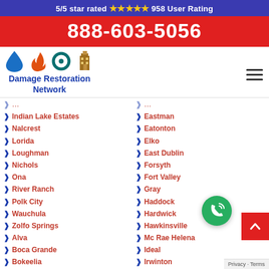5/5 star rated ⭐⭐⭐⭐⭐ 958 User Rating
888-603-5056
[Figure (logo): Damage Restoration Network logo with water drop, fire, hurricane, and building icons]
Indian Lake Estates
Eastman
Nalcrest
Eatonton
Lorida
Elko
Loughman
East Dublin
Nichols
Forsyth
Ona
Fort Valley
River Ranch
Gray
Polk City
Haddock
Wauchula
Hardwick
Zolfo Springs
Hawkinsville
Alva
Mc Rae Helena
Boca Grande
Ideal
Bokeelia
Irwinton
Captiva
Jeffersonville